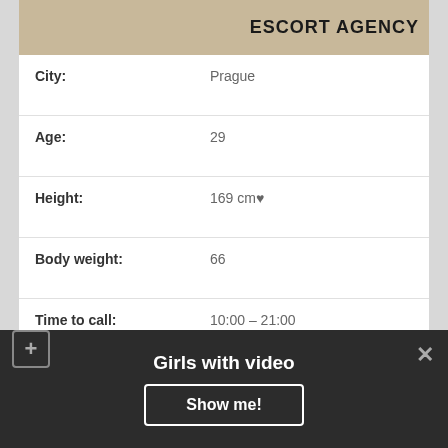[Figure (photo): Partial photo of a person with escort agency header text]
| Field | Value |
| --- | --- |
| City: | Prague |
| Age: | 29 |
| Height: | 169 cm♥ |
| Body weight: | 66 |
| Time to call: | 10:00 – 21:00 |
| Dinner Date: | No Problem |
| Sex Preferences: | Blow ride, Swinging, Pole Dancing |
| Outcall: | Anytime |
| 30 min: | 160 |
Girls with video
Show me!